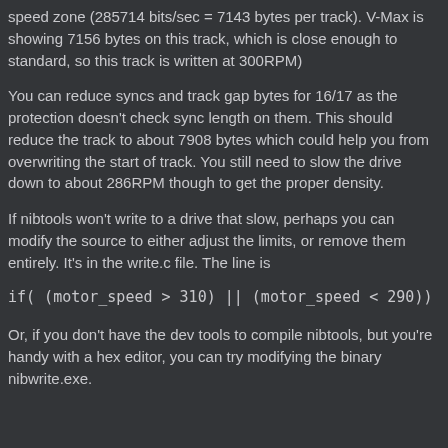speed zone (285714 bits/sec = 7143 bytes per track). V-Max is showing 7156 bytes on this track, which is close enough to standard, so this track is written at 300RPM)
You can reduce syncs and track gap bytes for 16/17 as the protection doesn't check sync length on them. This should reduce the track to about 7908 bytes which could help you from overwriting the start of track. You still need to slow the drive down to about 286RPM though to get the proper density.
If nibtools won't write to a drive that slow, perhaps you can modify the source to either adjust the limits, or remove them entirely. It's in the write.c file. The line is
Or, if you don't have the dev tools to compile nibtools, but you're handy with a hex editor, you can try modifying the binary nibwrite.exe.